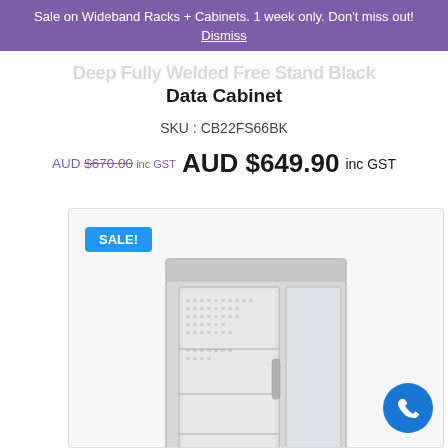Sale on Wideband Racks + Cabinets. 1 week only. Don't miss out! Dismiss
Data Cabinet
SKU : CB22FS66BK
AUD $670.00 inc GST  AUD $649.90 inc GST
[Figure (photo): A black server/data cabinet rack with glass front door and perforated side panels, shown on a white/grey background. A blue SALE! badge is shown in the top-left of the image area.]